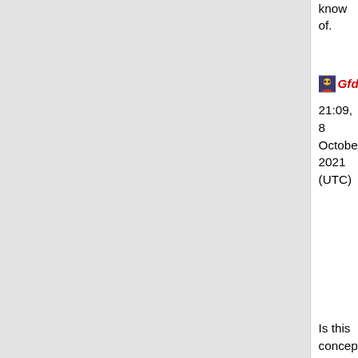know of.
Gfdg 21:09, 8 October 2021 (UTC)
Is this concept any less subjective than nondescript nouns or overdescriptive nouns? It seems like it's similar to those... basically stuff that's referred to as if they're things that exist without any further explanation or elaboration. I'd think of calling it something like "Unelaborated Nouns" or something in that direction. — Defender1031*Talk 21:50, 10 October 2021 (UTC)
Yes, it is. In both of those cases the humor comes from something unexpected - for example you'd expect a business to have a catchy name like "ebay" rather than the humorous "Some Type of Online Auction"; another example